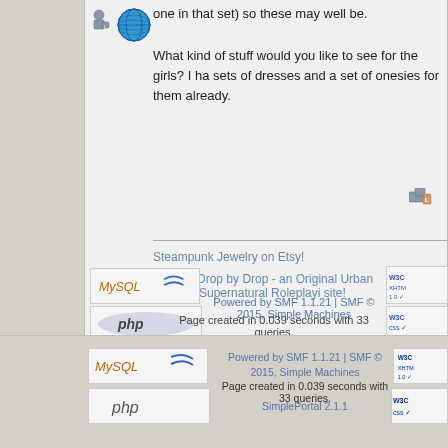one in that set) so these may well be.
What kind of stuff would you like to see for the girls? I ha sets of dresses and a set of onesies for them already.
Steampunk Jewelry on Etsy!
Seattle; Drop by Drop - an Original Urban Fantasy/Supernatural Roleplayi site!
Pages: [1] 2
« previous
=====> Boy
[Figure (screenshot): MySQL logo badge]
[Figure (screenshot): PHP logo badge]
[Figure (screenshot): W3C XHTML 1.0 badge]
[Figure (screenshot): W3C CSS badge]
Powered by SMF 1.1.21 | SMF © 2015, Simple Machines
Page created in 0.039 seconds with 33 queries.
SimplePortal 2.1.1